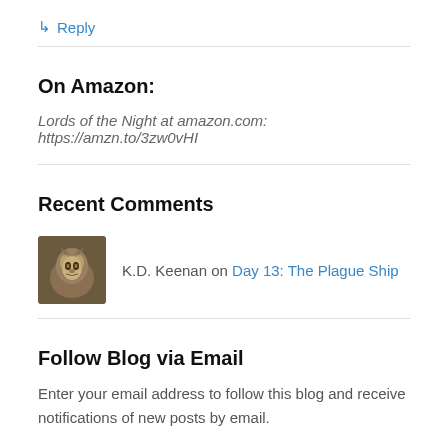↳ Reply
On Amazon:
Lords of the Night at amazon.com: https://amzn.to/3zw0vHI
Recent Comments
[Figure (photo): Avatar image of K.D. Keenan showing a stylized face with wolf/animal features]
K.D. Keenan on Day 13: The Plague Ship
Follow Blog via Email
Enter your email address to follow this blog and receive notifications of new posts by email.